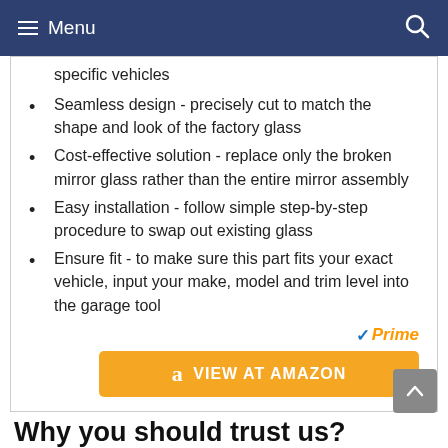Menu
specific vehicles
Seamless design - precisely cut to match the shape and look of the factory glass
Cost-effective solution - replace only the broken mirror glass rather than the entire mirror assembly
Easy installation - follow simple step-by-step procedure to swap out existing glass
Ensure fit - to make sure this part fits your exact vehicle, input your make, model and trim level into the garage tool
[Figure (other): Amazon Prime badge with checkmark and orange 'Prime' text in italic]
[Figure (other): Orange 'VIEW AT AMAZON' button with Amazon 'a' logo]
Why you should trust us?